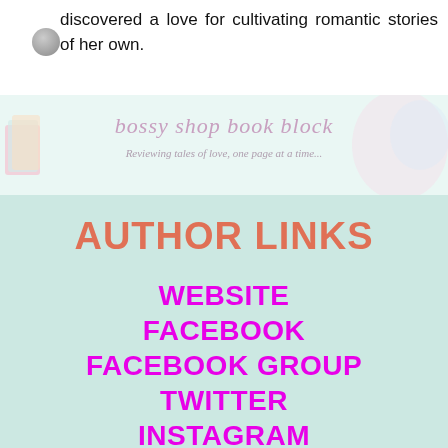discovered a love for cultivating romantic stories of her own.
[Figure (illustration): Book blog banner with illustration: 'bossy shop book block - Reviewing tales of love, one page at a time']
AUTHOR LINKS
WEBSITE
FACEBOOK
FACEBOOK GROUP
TWITTER
INSTAGRAM
PINTEREST
GOODREADS